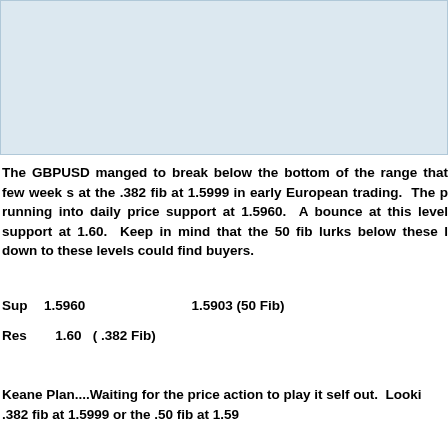[Figure (other): Light blue chart area placeholder at the top of the page, partially visible]
The GBPUSD manged to break below the bottom of the range that few week s at the .382 fib at 1.5999 in early European trading.  The p running into daily price support at 1.5960.  A bounce at this level support at 1.60.  Keep in mind that the 50 fib lurks below these l down to these levels could find buyers.
Sup    1.5960                    1.5903 (50 Fib)

Res     1.60   ( .382 Fib)
Keane Plan....Waiting for the price action to play it self out.  Looki .382 fib at 1.5999 or the .50 fib at 1.59